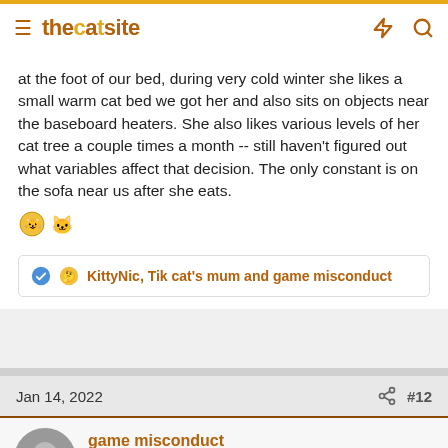thecatsite
at the foot of our bed, during very cold winter she likes a small warm cat bed we got her and also sits on objects near the baseboard heaters. She also likes various levels of her cat tree a couple times a month -- still haven't figured out what variables affect that decision. The only constant is on the sofa near us after she eats.
KittyNic, Tik cat's mum and game misconduct
Jan 14, 2022  #12
game misconduct
TCS Member